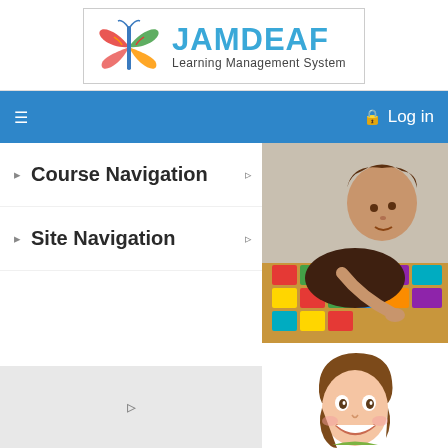[Figure (logo): JAMDEAF Learning Management System logo with colorful butterfly icon and blue text]
Log in
Course Navigation
Site Navigation
[Figure (photo): Person looking down at colorful tiles/cards on a table]
[Figure (illustration): Cartoon character smiling, brown hair, partially cropped]